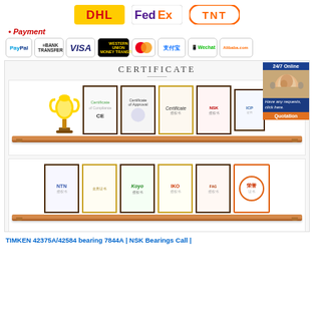[Figure (logo): DHL, FedEx, TNT shipping logos]
* Payment
[Figure (infographic): Payment method logos: PayPal, Bank Transfer, VISA, Western Union, MasterCard, Alipay, Wechat, Alibaba.com]
[Figure (photo): Certificate display with two shelves showing trophies and framed certificates including CE, NTN, Koyo, IKO and other brand authorizations]
TIMKEN 42375A/42584 bearing 7844A | NSK Bearings Call |